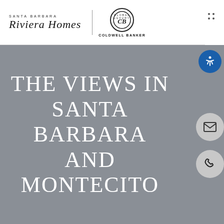[Figure (logo): Santa Barbara Riviera Homes logo with script text, vertical divider, and Coldwell Banker Global Luxury circular logo]
[Figure (other): Three-dot menu icon (2x2 grid of dots) in top right corner]
THE VIEWS IN SANTA BARBARA AND MONTECITO
[Figure (other): Accessibility icon button (blue circle with person symbol), email icon button (gray circle with envelope), phone icon button (gray circle with phone handset)]